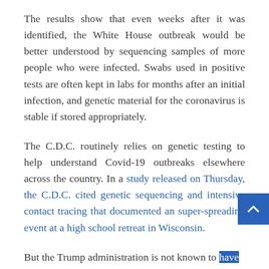The results show that even weeks after it was identified, the White House outbreak would be better understood by sequencing samples of more people who were infected. Swabs used in positive tests are often kept in labs for months after an initial infection, and genetic material for the coronavirus is stable if stored appropriately.
The C.D.C. routinely relies on genetic testing to help understand Covid-19 outbreaks elsewhere across the country. In a study released on Thursday, the C.D.C. cited genetic sequencing and intensive contact tracing that documented an super-spreading event at a high school retreat in Wisconsin.
But the Trump administration is not known to have conducted its own genetic analysis of people infected in the outbreak. The White House declined to respond to questions on genetic sequencing of Mr. Trump and the cluster of aides and officials who tested positive, or